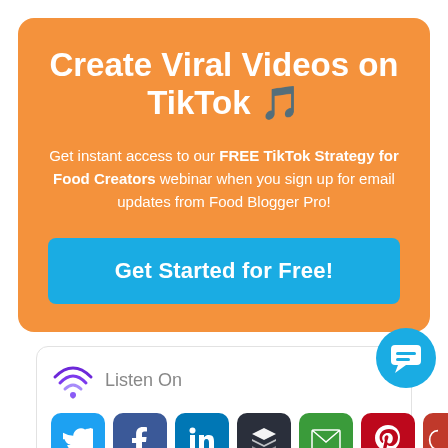Create Viral Videos on TikTok 🎵
Get instant access to our FREE TikTok Strategy for Food Creators webinar when you sign up for email updates from Food Blogger Pro!
Get Started for Free!
Listen On
[Figure (infographic): Social media share icons row: Twitter, Facebook, LinkedIn, Buffer, Email, Pinterest, and a partial red icon; plus a blue chat bubble widget in bottom right]